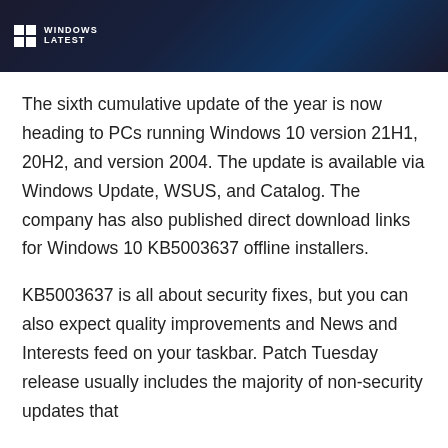[Figure (logo): Windows Latest logo on dark gradient banner background with icon and text reading WINDOWS LATEST]
The sixth cumulative update of the year is now heading to PCs running Windows 10 version 21H1, 20H2, and version 2004. The update is available via Windows Update, WSUS, and Catalog. The company has also published direct download links for Windows 10 KB5003637 offline installers.
KB5003637 is all about security fixes, but you can also expect quality improvements and News and Interests feed on your taskbar. Patch Tuesday release usually includes the majority of non-security updates that